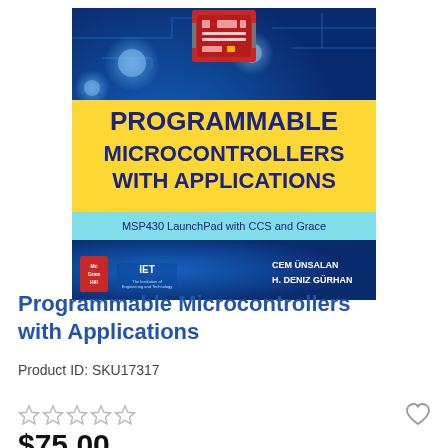[Figure (illustration): Book cover of 'Programmable Microcontrollers with Applications: MSP430 LaunchPad with CCS and Grace' by Cem Ünsalan and H. Deniz Gürhan. Blue circuit board background with yellow title banner, IET logo, and McGraw-Hill logo.]
Programmable Microcontrollers with Applications
Product ID: SKU17317
$75.00